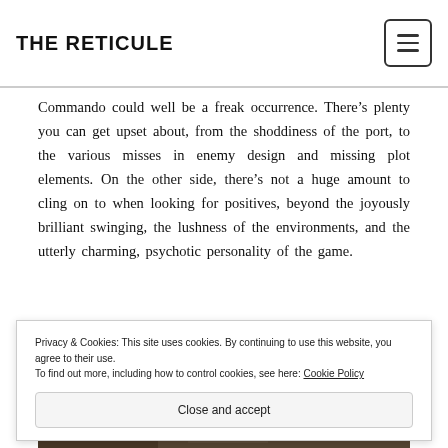THE RETICULE
Commando could well be a freak occurrence. There’s plenty you can get upset about, from the shoddiness of the port, to the various misses in enemy design and missing plot elements. On the other side, there’s not a huge amount to cling on to when looking for positives, beyond the joyously brilliant swinging, the lushness of the environments, and the utterly charming, psychotic personality of the game.
[Figure (photo): Partial view of a game scene or environment image, partially obscured by cookie banner]
Privacy & Cookies: This site uses cookies. By continuing to use this website, you agree to their use.
To find out more, including how to control cookies, see here: Cookie Policy
Close and accept